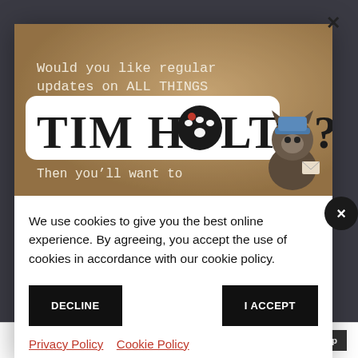[Figure (screenshot): Cookie consent modal overlay on a webpage. Top portion shows a Tim Holtz newsletter signup banner with text 'Would you like regular updates on ALL THINGS TIM HOLTZ? Then you'll want to' on a tan/brown background with a cartoon cat character. Below is a white cookie consent dialog.]
We use cookies to give you the best online experience. By agreeing, you accept the use of cookies in accordance with our cookie policy.
DECLINE
I ACCEPT
Privacy Policy  Cookie Policy
Enter your email address
Sign Up